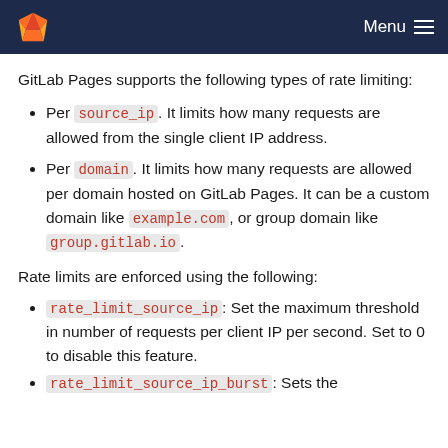Menu
GitLab Pages supports the following types of rate limiting:
Per source_ip. It limits how many requests are allowed from the single client IP address.
Per domain. It limits how many requests are allowed per domain hosted on GitLab Pages. It can be a custom domain like example.com, or group domain like group.gitlab.io.
Rate limits are enforced using the following:
rate_limit_source_ip: Set the maximum threshold in number of requests per client IP per second. Set to 0 to disable this feature.
rate_limit_source_ip_burst: Sets the...